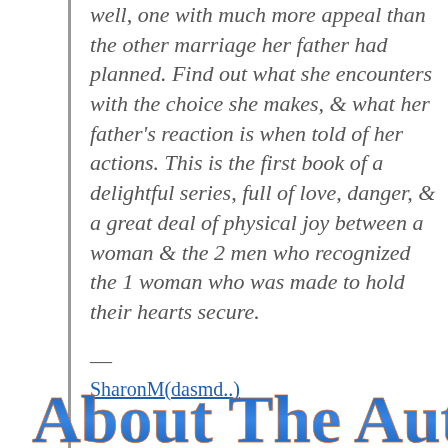well, one with much more appeal than the other marriage her father had planned. Find out what she encounters with the choice she makes, & what her father's reaction is when told of her actions. This is the first book of a delightful series, full of love, danger, & a great deal of physical joy between a woman & the 2 men who recognized the 1 woman who was made to hold their hearts secure.
—
SharonM(dasmd..)
About The Author